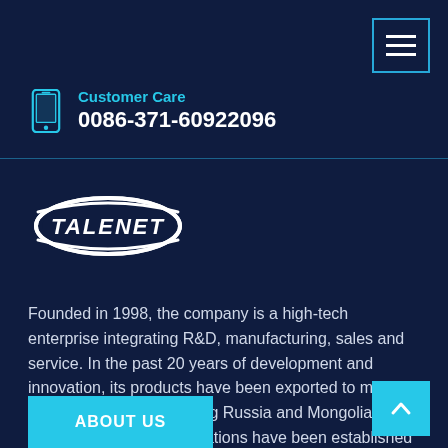Navigation menu button
Customer Care
0086-371-60922096
[Figure (logo): TALENET company logo — white elliptical swoosh with TALENET text in bold white italic letters]
Founded in 1998, the company is a high-tech enterprise integrating R&D, manufacturing, sales and service. In the past 20 years of development and innovation, its products have been exported to more than 80 countries including Russia and Mongolia, and long-term cooperative relations have been established with local companies.
ABOUT US